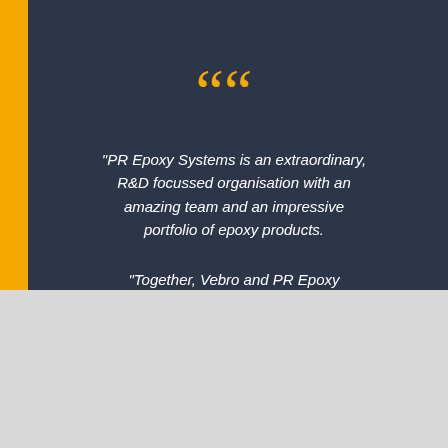[Figure (screenshot): Dark navy background with yellow left sidebar bar, large yellow open-quote marks at top center]
“PR Epoxy Systems is an extraordinary, R&D focussed organisation with an amazing team and an impressive portfolio of epoxy products.
“Together, Vebro and PR Epoxy
Fancy a cookie?
This website uses cookies to improve your experience. We'll assume you're ok with this, but you can opt-out if you wish.
Cookie settings
Accept